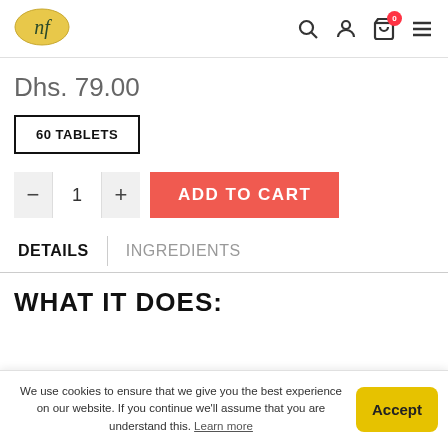[Figure (logo): nf logo in gold oval]
Dhs. 79.00
60 TABLETS
1
ADD TO CART
DETAILS
INGREDIENTS
WHAT IT DOES:
We use cookies to ensure that we give you the best experience on our website. If you continue we'll assume that you are understand this. Learn more